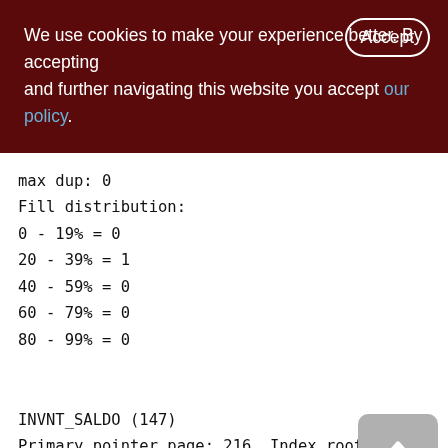We use cookies to make your experience better. By accepting and further navigating this website you accept our policy.
max dup: 0
Fill distribution:
0 - 19% = 0
20 - 39% = 1
40 - 59% = 0
60 - 79% = 0
80 - 99% = 0

INVNT_SALDO (147)
Primary pointer page: 216, Index root page: 217
Average record length: 61.35, total